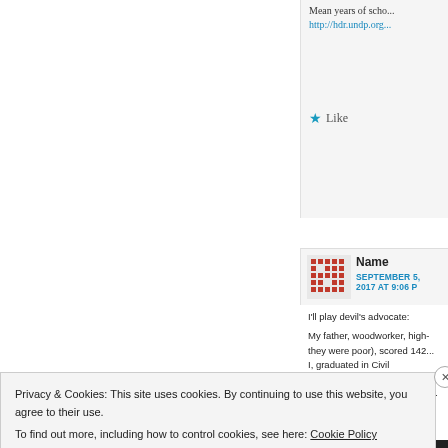Mean years of scho...
http://hdr.undp.org...
Like
Name
SEPTEMBER 5, 2017 AT 9:06 P
I'll play devil's advocate:
My father, woodworker, high-... they were poor), scored 142...
I, graduated in Civil Engineeri...
My mother, primary school te...

Really, the sheer amount...
Privacy & Cookies: This site uses cookies. By continuing to use this website, you agree to their use.
To find out more, including how to control cookies, see here: Cookie Policy
Close and accept